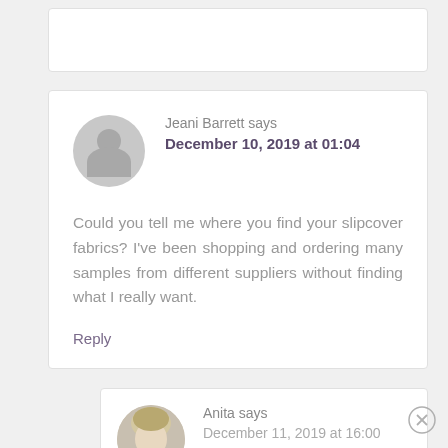Jeani Barrett says
December 10, 2019 at 01:04

Could you tell me where you find your slipcover fabrics? I've been shopping and ordering many samples from different suppliers without finding what I really want.

Reply
Anita says
December 11, 2019 at 16:00